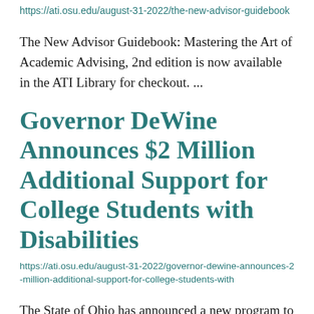https://ati.osu.edu/august-31-2022/the-new-advisor-guidebook
The New Advisor Guidebook: Mastering the Art of Academic Advising, 2nd edition is now available in the ATI Library for checkout. ...
Governor DeWine Announces $2 Million Additional Support for College Students with Disabilities
https://ati.osu.edu/august-31-2022/governor-dewine-announces-2-million-additional-support-for-college-students-with
The State of Ohio has announced a new program to provide all eligible college